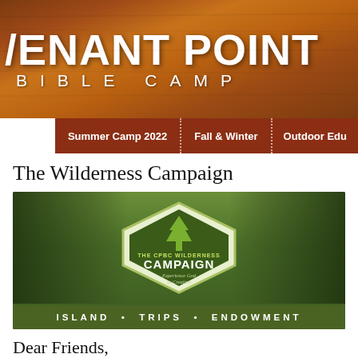VENANT POINT BIBLE CAMP
Summer Camp 2022 | Fall & Winter | Outdoor Edu
The Wilderness Campaign
[Figure (illustration): The CPBC Wilderness Campaign banner image showing two people reaching toward each other with a hexagonal badge logo in the center reading 'THE CPBC WILDERNESS CAMPAIGN – Experience God In Creation' and a green bar at the bottom reading 'ISLAND • TRIPS • ENDOWMENT']
Dear Friends,
With great thanks to God and to the faithfulness of the CPBC community, I am delighted completion of The Wilderness Campaign!